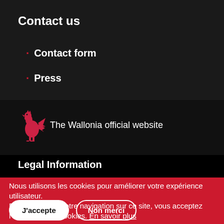Contact us
Contact form
Press
[Figure (logo): Wallonia rooster logo in red]
The Wallonia official website
Legal Information
Nous utilisons les cookies pour améliorer votre expérience utilisateur.
En poursuivant votre navigation sur ce site, vous acceptez l'utilisation des cookies. En savoir plus
J'accepte
Non merci